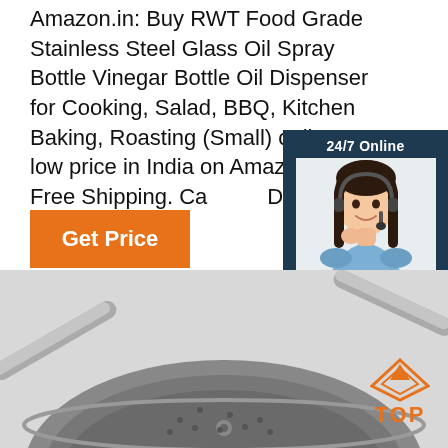Amazon.in: Buy RWT Food Grade Stainless Steel Glass Oil Spray Bottle Vinegar Bottle Oil Dispenser for Cooking, Salad, BBQ, Kitchen Baking, Roasting (Small) online at low price in India on Amazon.in. Free Shipping. Cash on Delivery
[Figure (other): Orange 'Get Price' button]
[Figure (infographic): 24/7 Online chat widget with woman wearing headset, 'Click here for free chat!' text, and orange QUOTATION button]
[Figure (photo): Bottom portion showing gray background with stainless steel cookware/wok handles, and orange TOP badge with arrow in the bottom right]